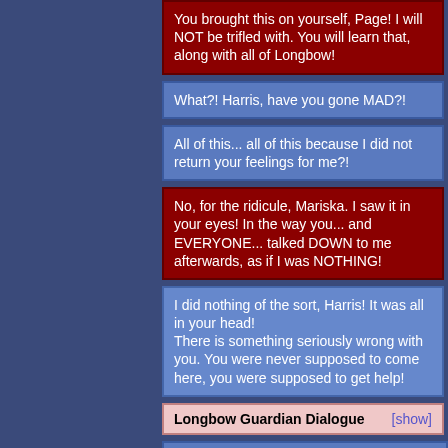You brought this on yourself, Page! I will NOT be trifled with. You will learn that, along with all of Longbow!
What?! Harris, have you gone MAD?!
All of this... all of this because I did not return your feelings for me?!
No, for the ridicule, Mariska. I saw it in your eyes! In the way you... and EVERYONE... talked DOWN to me afterwards, as if I was NOTHING!
I did nothing of the sort, Harris! It was all in your head! There is something seriously wrong with you. You were never supposed to come here, you were supposed to get help!
Longbow Guardian Dialogue [show]